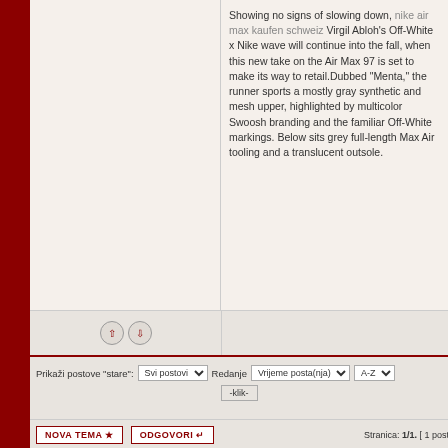Showing no signs of slowing down, nike air max kaufen schweiz Virgil Abloh's Off-White x Nike wave will continue into the fall, when this new take on the Air Max 97 is set to make its way to retail.Dubbed "Menta," the runner sports a mostly gray synthetic and mesh upper, highlighted by multicolor Swoosh branding and the familiar Off-White markings. Below sits grey full-length Max Air tooling and a translucent outsole.
Prikaži postove "stare": Svi postovi  Redanje Vrijeme posta(nja)  A-Z  -klik-
NOVA TEMA  ODGOVORI  Stranica: 1/1. [ 1 post ]